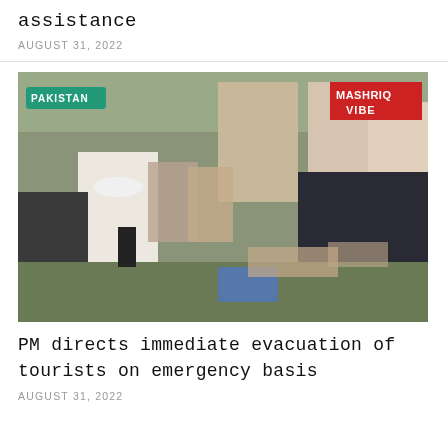assistance
AUGUST 31, 2022
[Figure (photo): Group of people sitting on grass; a man in white shirt and white cap speaks with locals while a journalist holds a microphone. MASHRIQ VIBE logo visible top right, PAKISTAN label top left.]
PM directs immediate evacuation of tourists on emergency basis
AUGUST 31, 2022